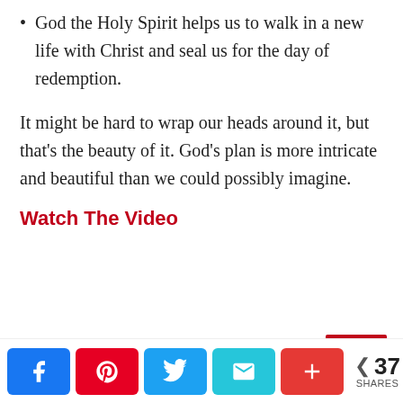God the Holy Spirit helps us to walk in a new life with Christ and seal us for the day of redemption.
It might be hard to wrap our heads around it, but that's the beauty of it. God's plan is more intricate and beautiful than we could possibly imagine.
Watch The Video
37 SHARES